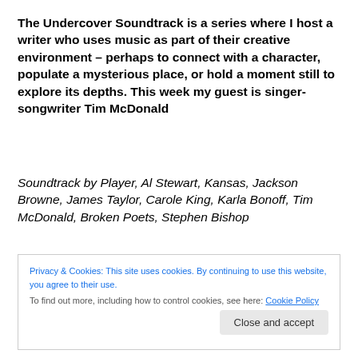The Undercover Soundtrack is a series where I host a writer who uses music as part of their creative environment – perhaps to connect with a character, populate a mysterious place, or hold a moment still to explore its depths. This week my guest is singer-songwriter Tim McDonald
Soundtrack by Player, Al Stewart, Kansas, Jackson Browne, James Taylor, Carole King, Karla Bonoff, Tim McDonald, Broken Poets, Stephen Bishop
Privacy & Cookies: This site uses cookies. By continuing to use this website, you agree to their use.
To find out more, including how to control cookies, see here: Cookie Policy